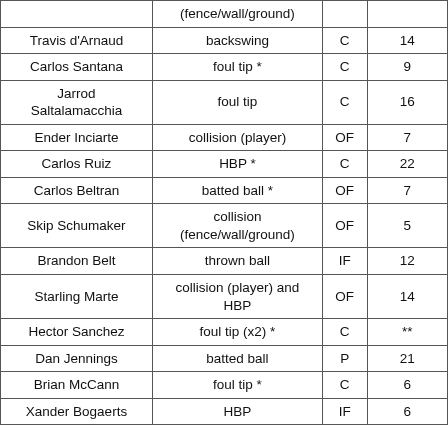|  | (fence/wall/ground) |  |  |
| --- | --- | --- | --- |
| Travis d'Arnaud | backswing | C | 14 |
| Carlos Santana | foul tip * | C | 9 |
| Jarrod Saltalamacchia | foul tip | C | 16 |
| Ender Inciarte | collision (player) | OF | 7 |
| Carlos Ruiz | HBP * | C | 22 |
| Carlos Beltran | batted ball * | OF | 7 |
| Skip Schumaker | collision (fence/wall/ground) | OF | 5 |
| Brandon Belt | thrown ball | IF | 12 |
| Starling Marte | collision (player) and HBP | OF | 14 |
| Hector Sanchez | foul tip (x2) * | C | ** |
| Dan Jennings | batted ball | P | 21 |
| Brian McCann | foul tip * | C | 6 |
| Xander Bogaerts | HBP | IF | 6 |